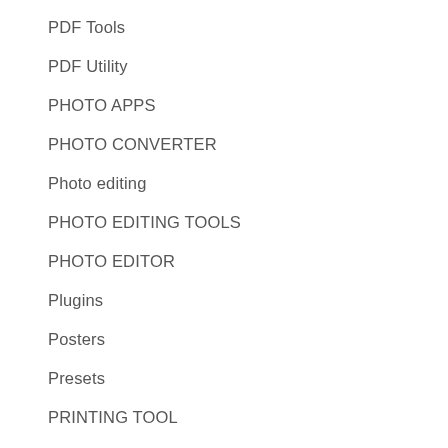PDF Tools
PDF Utility
PHOTO APPS
PHOTO CONVERTER
Photo editing
PHOTO EDITING TOOLS
PHOTO EDITOR
Plugins
Posters
Presets
PRINTING TOOL